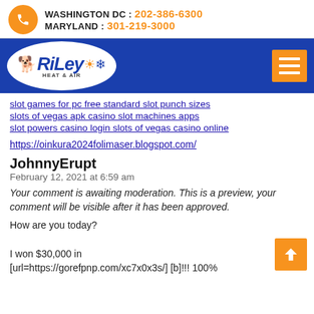WASHINGTON DC : 202-386-6300 | MARYLAND : 301-219-3000
[Figure (logo): Riley Heat & Air logo with dog mascot on blue navigation bar with orange hamburger menu icon]
slot games for pc free standard slot punch sizes
slots of vegas apk casino slot machines apps
slot powers casino login slots of vegas casino online
https://oinkura2024folimaser.blogspot.com/
JohnnyErupt
February 12, 2021 at 6:59 am
Your comment is awaiting moderation. This is a preview, your comment will be visible after it has been approved.
How are you today?

I won $30,000 in
[url=https://gorefpnp.com/xc7x0x3s/] [b]!!! 100%